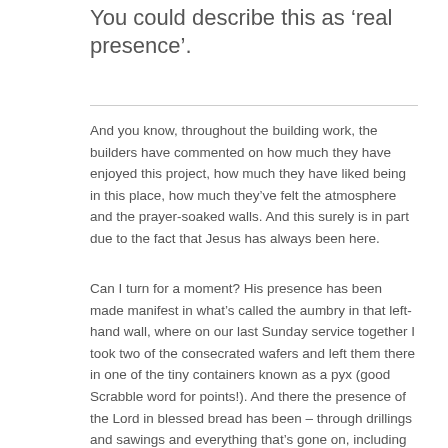You could describe this as ‘real presence’.
And you know, throughout the building work, the builders have commented on how much they have enjoyed this project, how much they have liked being in this place, how much they’ve felt the atmosphere and the prayer-soaked walls. And this surely is in part due to the fact that Jesus has always been here.
Can I turn for a moment? His presence has been made manifest in what’s called the aumbry in that left-hand wall, where on our last Sunday service together I took two of the consecrated wafers and left them there in one of the tiny containers known as a pyx (good Scrabble word for points!). And there the presence of the Lord in blessed bread has been – through drillings and sawings and everything that’s gone on, including their own music – the Lord has remained here in what